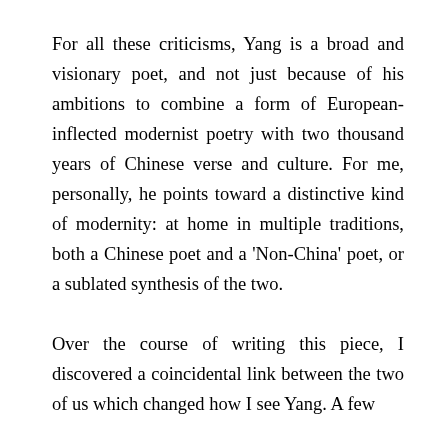For all these criticisms, Yang is a broad and visionary poet, and not just because of his ambitions to combine a form of European-inflected modernist poetry with two thousand years of Chinese verse and culture. For me, personally, he points toward a distinctive kind of modernity: at home in multiple traditions, both a Chinese poet and a ‘Non-China’ poet, or a sublated synthesis of the two.
Over the course of writing this piece, I discovered a coincidental link between the two of us which changed how I see Yang. A few